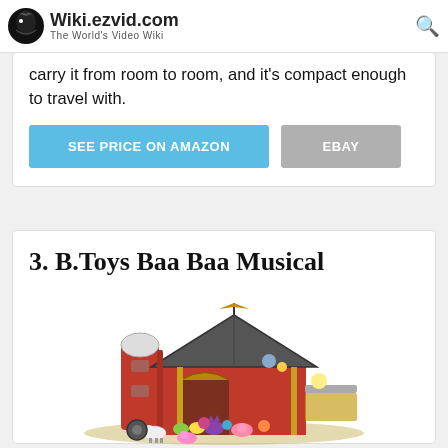Wiki.ezvid.com — The World's Video Wiki
carry it from room to room, and it's compact enough to travel with.
SEE PRICE ON AMAZON | EBAY
3. B.Toys Baa Baa Musical
[Figure (photo): Product photo of B.Toys Baa Baa Musical farm playset with red barn, silo, and colorful animal figures]
REVIEW    DETAILS